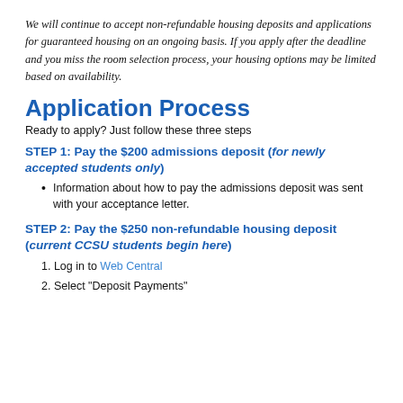We will continue to accept non-refundable housing deposits and applications for guaranteed housing on an ongoing basis. If you apply after the deadline and you miss the room selection process, your housing options may be limited based on availability.
Application Process
Ready to apply? Just follow these three steps
STEP 1: Pay the $200 admissions deposit (for newly accepted students only)
Information about how to pay the admissions deposit was sent with your acceptance letter.
STEP 2: Pay the $250 non-refundable housing deposit (current CCSU students begin here)
1. Log in to Web Central
2. Select "Deposit Payments"